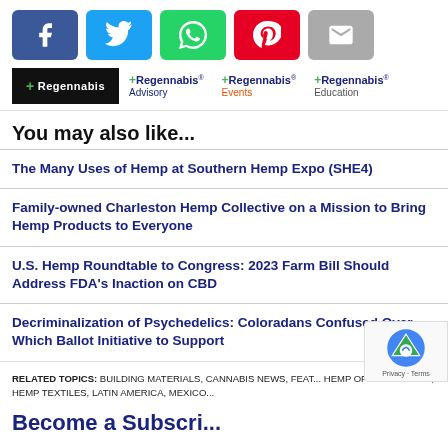[Figure (other): Social share buttons: Facebook, Twitter, WhatsApp, Pinterest, Email]
[Figure (logo): Regennabis logo bar with main logo and sub-logos: Regennabis Advisory, Regennabis Events, Regennabis Education]
You may also like...
The Many Uses of Hemp at Southern Hemp Expo (SHE4)
Family-owned Charleston Hemp Collective on a Mission to Bring Hemp Products to Everyone
U.S. Hemp Roundtable to Congress: 2023 Farm Bill Should Address FDA's Inaction on CBD
Decriminalization of Psychedelics: Coloradans Confused Over Which Ballot Initiative to Support
RELATED TOPICS:  BUILDING MATERIALS, CANNABIS NEWS, FEATURED, HEMP OPPORTUNITIES, HEMP TEXTILES, LATIN AMERICA, MEXICO
Become a Subscriber